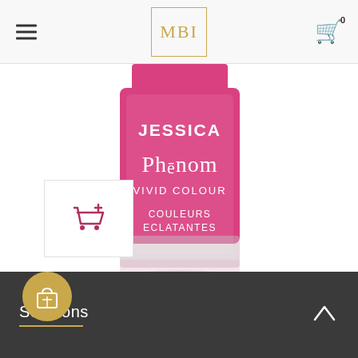MBI — navigation header with hamburger menu, MBI logo, and cart icon
[Figure (photo): Jessica Phénom Vivid Colour nail polish bottle in hot pink/magenta, with white label text reading 'JESSICA', 'Phēnom', 'VIVID COLOUR', 'COULEURS ECLATANTES']
[Figure (infographic): Small thumbnail box with red add-to-cart shopping cart icon]
[Figure (infographic): Gold circle button with white shopping bag / store icon]
Solutions